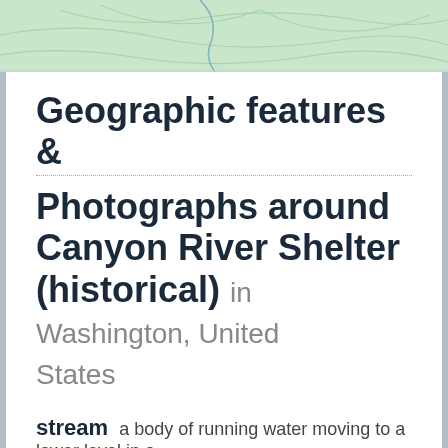[Figure (map): Topographic map banner showing green terrain with contour lines]
Geographic features & Photographs around Canyon River Shelter (historical) in Washington, United States
stream a body of running water moving to a lower level in a channel on land.